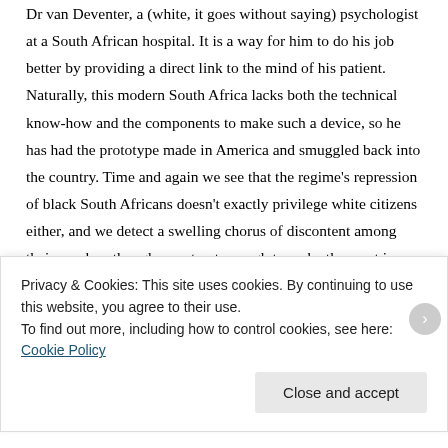Dr van Deventer, a (white, it goes without saying) psychologist at a South African hospital. It is a way for him to do his job better by providing a direct link to the mind of his patient. Naturally, this modern South Africa lacks both the technical know-how and the components to make such a device, so he has had the prototype made in America and smuggled back into the country. Time and again we see that the regime's repression of black South Africans doesn't exactly privilege white citizens either, and we detect a swelling chorus of discontent among their number, though as yet not enough to make them act in concert with the black majority whose day-to-day
Privacy & Cookies: This site uses cookies. By continuing to use this website, you agree to their use.
To find out more, including how to control cookies, see here: Cookie Policy